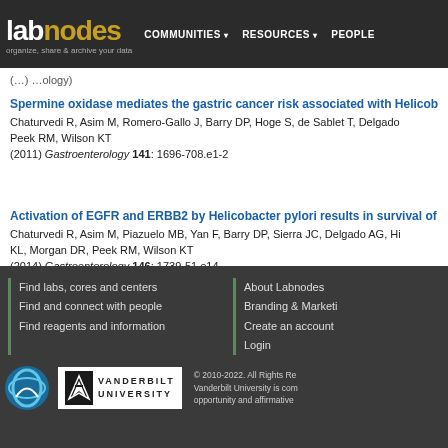labnodes | organize, share & archive your data | COMMUNITIES | RESOURCES | PEOPLE
(…) …ology
Spermine oxidase mediates the gastric cancer risk associated with Helicob…
Chaturvedi R, Asim M, Romero-Gallo J, Barry DP, Hoge S, de Sablet T, Delgado… Peek RM, Wilson KT
(2011) Gastroenterology 141: 1696-708.e1-2
Activation of EGFR and ERBB2 by Helicobacter pylori results in survival of…
Chaturvedi R, Asim M, Piazuelo MB, Yan F, Barry DP, Sierra JC, Delgado AG, Hi… KL, Morgan DR, Peek RM, Wilson KT
(2014) Gastroenterology 146: 1739-51.e14
Find labs, cores and centers | Find and connect with people | Find reagents and information | About Labnodes | Branding & Marketing | Create an account | Login | © 2010-2022. All Rights Reserved. Vanderbilt University is committed to equal opportunity and affirmative…